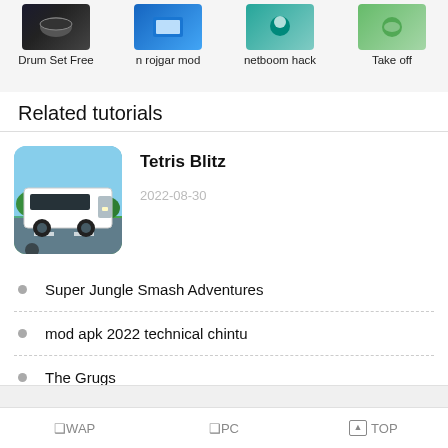[Figure (screenshot): Top strip showing four app thumbnails with labels: Drum Set Free, n rojgar mod, netboom hack, Take off]
Related tutorials
[Figure (screenshot): Thumbnail image of a bus simulator game showing a white bus on a road]
Tetris Blitz
2022-08-30
Super Jungle Smash Adventures
mod apk 2022 technical chintu
The Grugs
❑WAP   ❑PC   ▲TOP